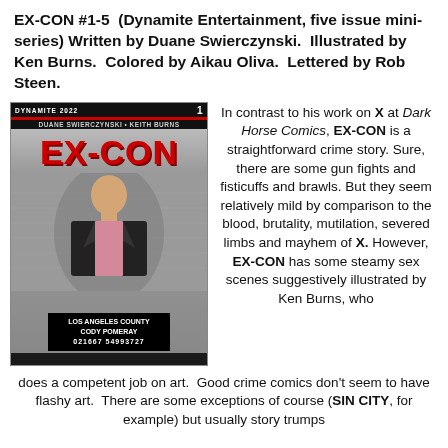EX-CON #1-5  (Dynamite Entertainment, five issue mini-series) Written by Duane Swierczynski.  Illustrated by Ken Burns.  Colored by Aikau Oliva.  Lettered by Rob Steen.
[Figure (photo): Cover of EX-CON #1 comic book published by Dynamite. Shows a mugshot-style photo of a man in a black suit holding a Los Angeles County booking sign reading 'CODY POMERAY 021667 54993727'. The title EX-CON is displayed in large red letters.]
In contrast to his work on X at Dark Horse Comics, EX-CON is a straightforward crime story. Sure, there are some gun fights and fisticuffs and brawls. But they seem relatively mild by comparison to the blood, brutality, mutilation, severed limbs and mayhem of X. However, EX-CON has some steamy sex scenes suggestively illustrated by Ken Burns, who does a competent job on art. Good crime comics don't seem to have flashy art. There are some exceptions of course (SIN CITY, for example) but usually story trumps